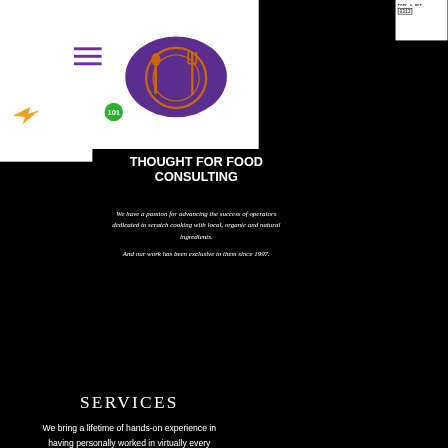[Figure (logo): DeliOps 101 company logo with plate, spoon and fork icon in purple, hamburger menu icon in white box]
THOUGHT FOR FOOD CONSULTING
We have a passion for advancing the success of operators dedicated to scratch cooking with local, organic and natural ingredients. And our work has been exclusive to them since 1997.
SERVICES
We bring a lifetime of hands-on experience in having personally worked in virtually every
[Figure (infographic): Phone icon, email envelope icon, and LinkedIn icon in white on black background]